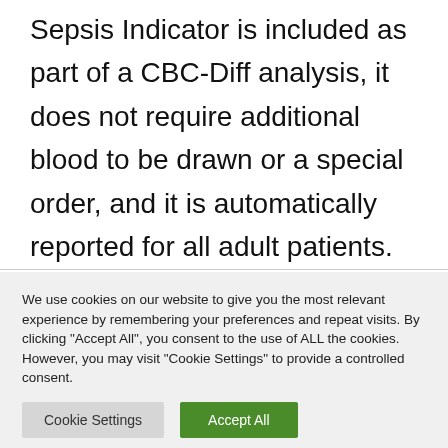Sepsis Indicator is included as part of a CBC-Diff analysis, it does not require additional blood to be drawn or a special order, and it is automatically reported for all adult patients. Two scientific papers have already
We use cookies on our website to give you the most relevant experience by remembering your preferences and repeat visits. By clicking "Accept All", you consent to the use of ALL the cookies. However, you may visit "Cookie Settings" to provide a controlled consent.